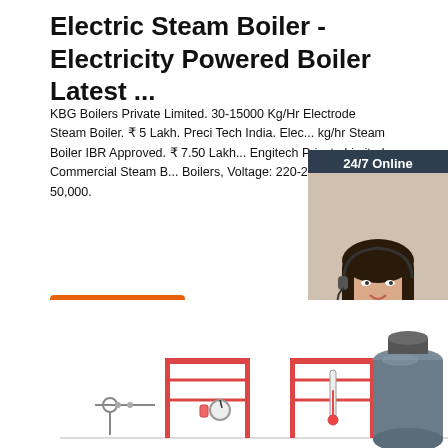Electric Steam Boiler - Electricity Powered Boiler Latest ...
KBG Boilers Private Limited. 30-15000 Kg/Hr Electrode Steam Boiler. ₹ 5 Lakh. Preci Tech India. Elec... kg/hr Steam Boiler IBR Approved. ₹ 7.50 Lakh... Engitech Private Limited. Commercial Steam B... Boilers, Voltage: 220-240 V. ₹ 50,000.
[Figure (illustration): Orange 'Get Price' button]
[Figure (illustration): 24/7 Online chat widget with female agent wearing headset, dark background, orange QUOTATION button]
[Figure (photo): Electric steam boiler industrial equipment with red frame structures and a gray cylindrical tank on the right, bottom of page]